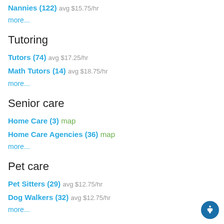Nannies (122) avg $15.75/hr
more...
Tutoring
Tutors (74) avg $17.25/hr
Math Tutors (14) avg $18.75/hr
more...
Senior care
Home Care (3) map
Home Care Agencies (36) map
more...
Pet care
Pet Sitters (29) avg $12.75/hr
Dog Walkers (32) avg $12.75/hr
more...
Home services